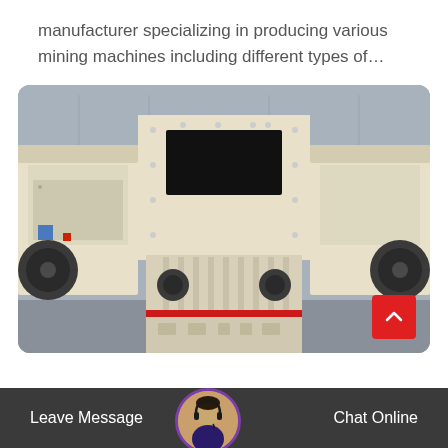manufacturer specializing in producing various mining machines including different types of…
[Figure (photo): Industrial mining impact crusher machines in cream/beige color lined up inside a factory/warehouse. The central machine has a black rectangular opening at the top and a red stripe at the base. Large pulley wheels are visible on side machines.]
Leave Message   Chat Online